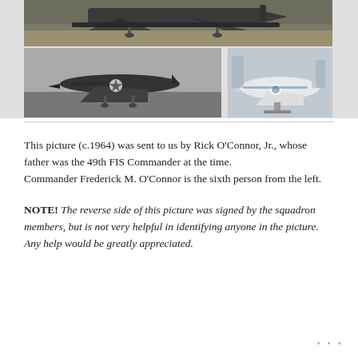[Figure (photo): Three photos of military aircraft. Top: a wide shot of a jet aircraft on a tarmac, dark coloring. Bottom-left: black and white photo of a U.S. Air Force jet fighter on a runway with markings visible. Bottom-right: color photo of a white military jet aircraft indoors, possibly in a museum.]
This picture (c.1964) was sent to us by Rick O’Connor, Jr., whose father was the 49th FIS Commander at the time.
Commander Frederick M. O’Connor is the sixth person from the left.
NOTE! The reverse side of this picture was signed by the squadron members, but is not very helpful in identifying anyone in the picture. Any help would be greatly appreciated.
• • •